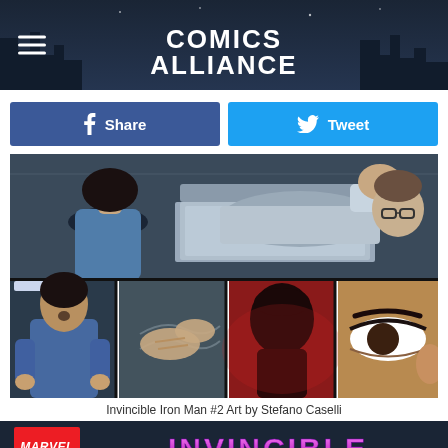Comics Alliance
[Figure (illustration): Facebook Share button (blue) and Twitter Tweet button (light blue) side by side]
[Figure (illustration): Comic book art from Invincible Iron Man #2 by Stefano Caselli. Top panel shows a woman with short dark hair facing a hospital bed with a figure lying in it, and a man with glasses to the right. Bottom row has four panels: woman standing surprised near a bed, close-up of hands pulling sheets, silhouette of a figure in red-tinted panel, and a dramatic close-up of a woman's wide eye.]
Invincible Iron Man #2 Art by Stefano Caselli
[Figure (logo): Marvel logo in red rectangle on left, and large stylized 'INVINCIBLE' text to the right, on dark blue background banner.]